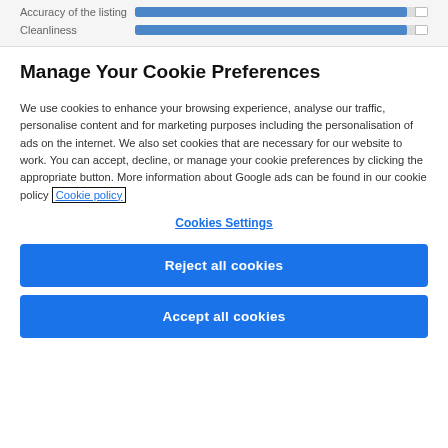[Figure (other): Two rating bar rows: 'Accuracy of the listing' and 'Cleanliness', each with a mostly-filled blue progress bar and a small white empty segment at the end.]
Manage Your Cookie Preferences
We use cookies to enhance your browsing experience, analyse our traffic, personalise content and for marketing purposes including the personalisation of ads on the internet. We also set cookies that are necessary for our website to work. You can accept, decline, or manage your cookie preferences by clicking the appropriate button. More information about Google ads can be found in our cookie policy Cookie policy
Cookies Settings
Reject all cookies
Accept all cookies